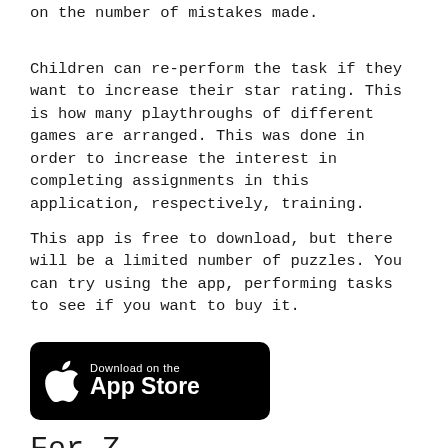on the number of mistakes made.
Children can re-perform the task if they want to increase their star rating. This is how many playthroughs of different games are arranged. This was done in order to increase the interest in completing assignments in this application, respectively, training.
This app is free to download, but there will be a limited number of puzzles. You can try using the app, performing tasks to see if you want to buy it.
[Figure (logo): Download on the App Store badge — black rounded rectangle with Apple logo and text 'Download on the App Store']
For Z...